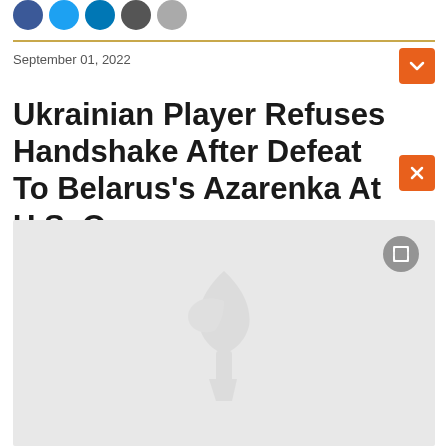Social share icons: Facebook, Twitter, LinkedIn, Email, Share
September 01, 2022
Ukrainian Player Refuses Handshake After Defeat To Belarus's Azarenka At U.S. Open
[Figure (photo): Placeholder image with a watermark logo (torch/flame icon) on a light grey background, with a fullscreen expand button in the top-right corner]